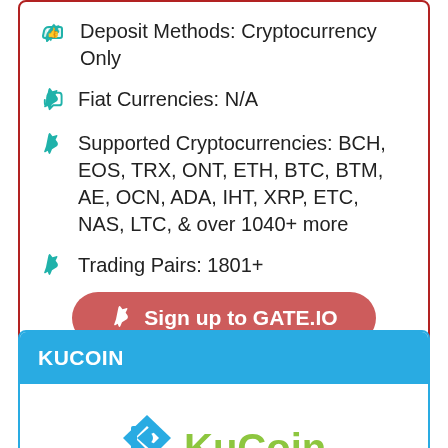Deposit Methods: Cryptocurrency Only
Fiat Currencies: N/A
Supported Cryptocurrencies: BCH, EOS, TRX, ONT, ETH, BTC, BTM, AE, OCN, ADA, IHT, XRP, ETC, NAS, LTC, & over 1040+ more
Trading Pairs: 1801+
Sign up to GATE.IO
KUCOIN
[Figure (logo): KuCoin logo with blue diamond K symbol and green KuCoin wordmark]